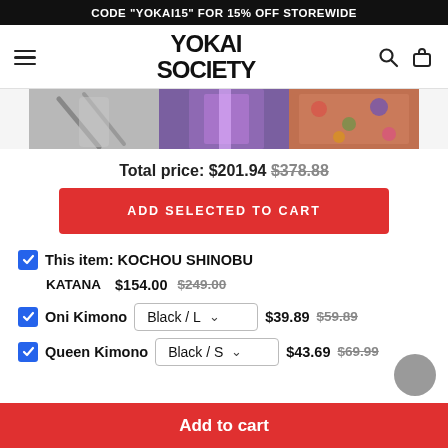CODE "YOKAI15" FOR 15% OFF STOREWIDE
[Figure (logo): Yokai Society logo with hamburger menu, search icon, and bag icon in navigation bar]
[Figure (photo): Three product images partially visible: grayscale item left, purple/colorful item center, floral item right]
Total price: $201.94 $378.88
ADD SELECTED TO CART
This item: KOCHOU SHINOBU
KATANA $154.00 $249.00
Oni Kimono Black / L $39.89 $59.89
Queen Kimono Black / S $43.69 $69.99
Add to cart